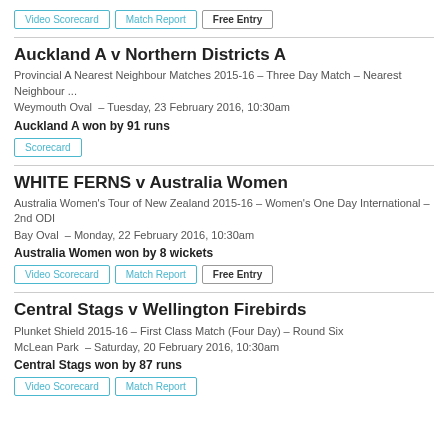Video Scorecard | Match Report | Free Entry
Auckland A v Northern Districts A
Provincial A Nearest Neighbour Matches 2015-16 – Three Day Match – Nearest Neighbour ...
Weymouth Oval – Tuesday, 23 February 2016, 10:30am
Auckland A won by 91 runs
Scorecard
WHITE FERNS v Australia Women
Australia Women's Tour of New Zealand 2015-16 – Women's One Day International – 2nd ODI
Bay Oval – Monday, 22 February 2016, 10:30am
Australia Women won by 8 wickets
Video Scorecard | Match Report | Free Entry
Central Stags v Wellington Firebirds
Plunket Shield 2015-16 – First Class Match (Four Day) – Round Six
McLean Park – Saturday, 20 February 2016, 10:30am
Central Stags won by 87 runs
Video Scorecard | Match Report